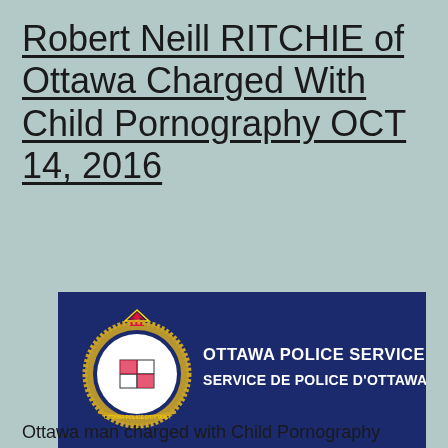Robert Neill RITCHIE of Ottawa Charged With Child Pornography OCT 14, 2016
[Figure (logo): Ottawa Police Service / Service de Police d'Ottawa official logo on dark navy background with gold crest badge on the left and bold white text on the right]
Ottawa man charged with Child Pornography